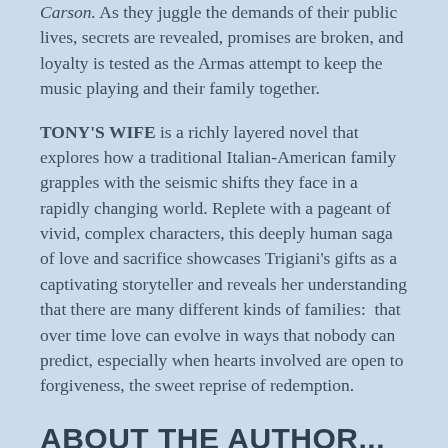Carson. As they juggle the demands of their public lives, secrets are revealed, promises are broken, and loyalty is tested as the Armas attempt to keep the music playing and their family together.
TONY'S WIFE is a richly layered novel that explores how a traditional Italian-American family grapples with the seismic shifts they face in a rapidly changing world. Replete with a pageant of vivid, complex characters, this deeply human saga of love and sacrifice showcases Trigiani's gifts as a captivating storyteller and reveals her understanding that there are many different kinds of families:  that over time love can evolve in ways that nobody can predict, especially when hearts involved are open to forgiveness, the sweet reprise of redemption.
ABOUT THE AUTHOR...
ADRIANA TRIGIANI is the bestselling author of 18 books,